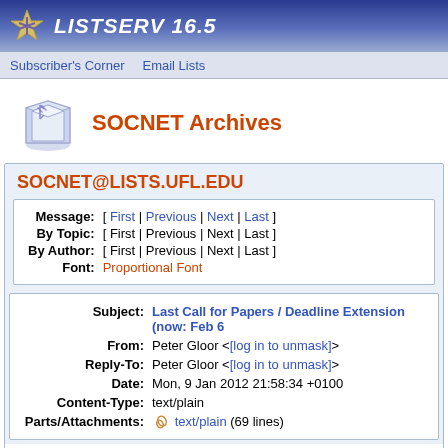LISTSERV 16.5
Subscriber's Corner  Email Lists
SOCNET Archives
SOCNET@LISTS.UFL.EDU
| Label | Navigation |
| --- | --- |
| Message: | [ First | Previous | Next | Last ] |
| By Topic: | [ First | Previous | Next | Last ] |
| By Author: | [ First | Previous | Next | Last ] |
| Font: | Proportional Font |
| Field | Value |
| --- | --- |
| Subject: | Last Call for Papers / Deadline Extension (now: Feb 6... |
| From: | Peter Gloor <[log in to unmask]> |
| Reply-To: | Peter Gloor <[log in to unmask]> |
| Date: | Mon, 9 Jan 2012 21:58:34 +0100 |
| Content-Type: | text/plain |
| Parts/Attachments: | text/plain (69 lines) |
***** To join INSNA, visit http://www.insna.org *****